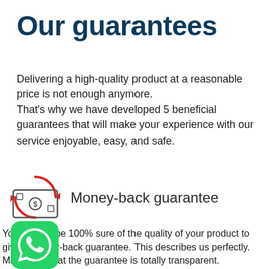Our guarantees
Delivering a high-quality product at a reasonable price is not enough anymore.
That's why we have developed 5 beneficial guarantees that will make your experience with our service enjoyable, easy, and safe.
[Figure (illustration): Money-back guarantee icon: a banknote with a circular red arrow around it, and a label 'Money-back guarantee']
You have to be 100% sure of the quality of your product to give a money-back guarantee. This describes us perfectly. Make sure that the guarantee is totally transparent.
[Figure (logo): WhatsApp green circular logo in bottom left corner]